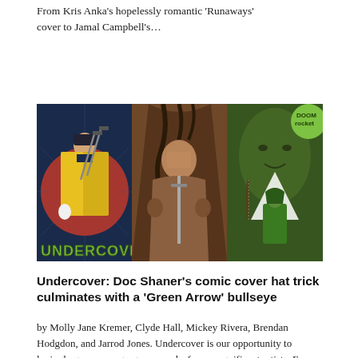From Kris Anka's hopelessly romantic 'Runaways' cover to Jamal Campbell's…
[Figure (photo): A collage of three comic book covers arranged side by side. Left: a figure in a yellow jacket with swords on his back against a red circle, with 'UNDERCOVER' text in green bubble letters. Center: a barbarian-like figure seated on a throne. Right: a green-tinted cover showing a woman's face and a Green Arrow figure with a white triangle/arrow shape, with 'DOOM rocket' logo.]
Undercover: Doc Shaner's comic cover hat trick culminates with a 'Green Arrow' bullseye
by Molly Jane Kremer, Clyde Hall, Mickey Rivera, Brendan Hodgdon, and Jarrod Jones. Undercover is our opportunity to lovingly gaze upon gorgeous works from magnificent artists. From Doc Shaner's